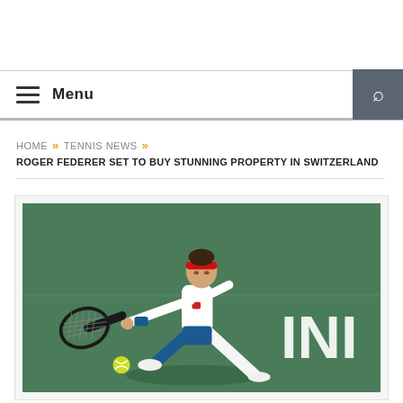Menu
HOME » TENNIS NEWS » ROGER FEDERER SET TO BUY STUNNING PROPERTY IN SWITZERLAND
[Figure (photo): Roger Federer running and hitting a forehand shot on an outdoor tennis court with a green surface. He is wearing white top, blue shorts, red headband, and blue wristband. A tennis ball is visible near the ground. Partial text 'INI' visible in background.]